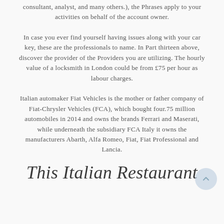consultant, analyst, and many others.), the Phrases apply to your activities on behalf of the account owner.
In case you ever find yourself having issues along with your car key, these are the professionals to name. In Part thirteen above, discover the provider of the Providers you are utilizing. The hourly value of a locksmith in London could be from £75 per hour as labour charges.
Italian automaker Fiat Vehicles is the mother or father company of Fiat-Chrysler Vehicles (FCA), which bought four.75 million automobiles in 2014 and owns the brands Ferrari and Maserati, while underneath the subsidiary FCA Italy it owns the manufacturers Abarth, Alfa Romeo, Fiat, Fiat Professional and Lancia.
This Italian Restaurant